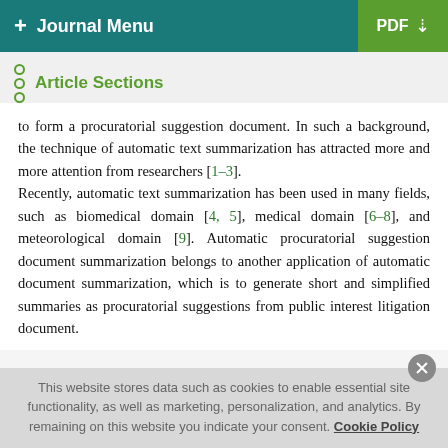+ Journal Menu  PDF ↓
Article Sections
to form a procuratorial suggestion document. In such a background, the technique of automatic text summarization has attracted more and more attention from researchers [1–3].
Recently, automatic text summarization has been used in many fields, such as biomedical domain [4, 5], medical domain [6–8], and meteorological domain [9]. Automatic procuratorial suggestion document summarization belongs to another application of automatic document summarization, which is to generate short and simplified summaries as procuratorial suggestions from public interest litigation document.
This website stores data such as cookies to enable essential site functionality, as well as marketing, personalization, and analytics. By remaining on this website you indicate your consent. Cookie Policy